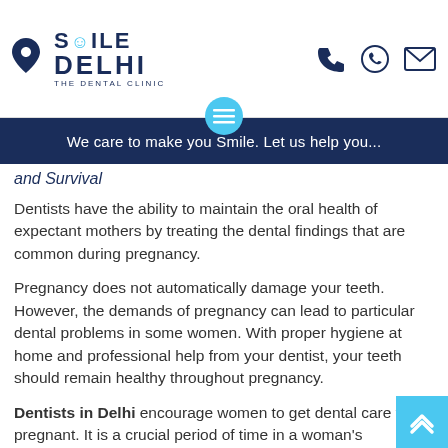[Figure (logo): Smile Delhi The Dental Clinic logo with location pin icon on the left and phone, WhatsApp, email icons on the right]
We care to make you Smile. Let us help you...
and Survival
Dentists have the ability to maintain the oral health of expectant mothers by treating the dental findings that are common during pregnancy.
Pregnancy does not automatically damage your teeth. However, the demands of pregnancy can lead to particular dental problems in some women. With proper hygiene at home and professional help from your dentist, your teeth should remain healthy throughout pregnancy.
Dentists in Delhi encourage women to get dental care while pregnant. It is a crucial period of time in a woman's